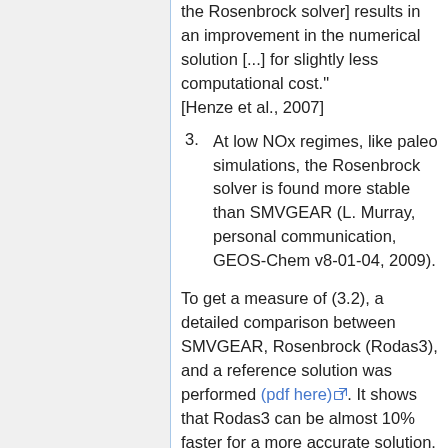the Rosenbrock solver] results in an improvement in the numerical solution [...] for slightly less computational cost." [Henze et al., 2007]
3. At low NOx regimes, like paleo simulations, the Rosenbrock solver is found more stable than SMVGEAR (L. Murray, personal communication, GEOS-Chem v8-01-04, 2009).
To get a measure of (3.2), a detailed comparison between SMVGEAR, Rosenbrock (Rodas3), and a reference solution was performed (pdf here). It shows that Rodas3 can be almost 10% faster for a more accurate solution. SMVGEAR is particularly slow to...